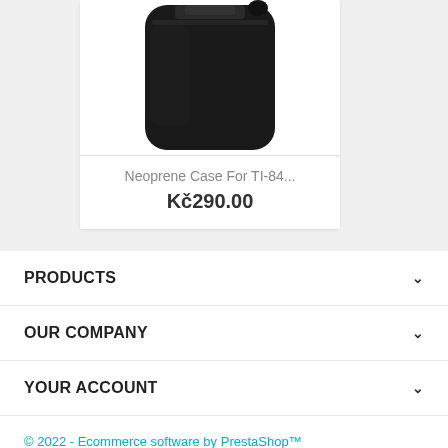[Figure (photo): Product card showing a black neoprene calculator case on white background]
Neoprene Case For TI-84...
Kč290.00
PRODUCTS
OUR COMPANY
YOUR ACCOUNT
© 2022 - Ecommerce software by PrestaShop™